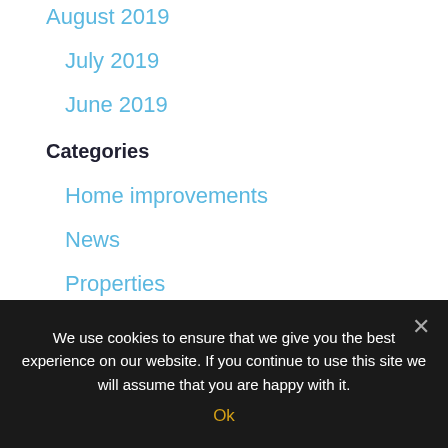August 2019
July 2019
June 2019
Categories
Home improvements
News
Properties
Properties Let
Properties Pending Application
We use cookies to ensure that we give you the best experience on our website. If you continue to use this site we will assume that you are happy with it.
Ok